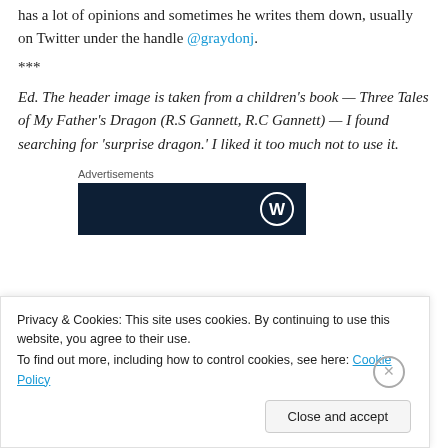has a lot of opinions and sometimes he writes them down, usually on Twitter under the handle @graydonj.
***
Ed. The header image is taken from a children's book — Three Tales of My Father's Dragon (R.S Gannett, R.C Gannett) — I found searching for 'surprise dragon.' I liked it too much not to use it.
Advertisements
[Figure (other): Dark navy advertisement banner with WordPress logo (W in circle) on the right side]
Privacy & Cookies: This site uses cookies. By continuing to use this website, you agree to their use.
To find out more, including how to control cookies, see here: Cookie Policy